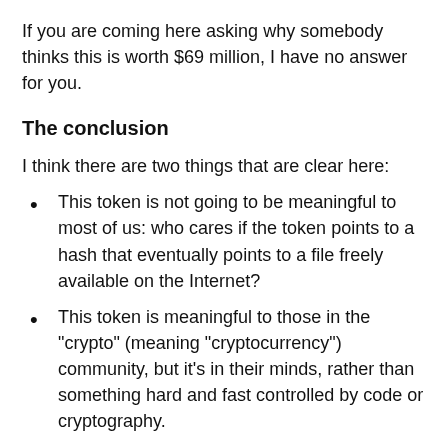If you are coming here asking why somebody thinks this is worth $69 million, I have no answer for you.
The conclusion
I think there are two things that are clear here:
This token is not going to be meaningful to most of us: who cares if the token points to a hash that eventually points to a file freely available on the Internet?
This token is meaningful to those in the "crypto" (meaning "cryptocurrency") community, but it's in their minds, rather than something hard and fast controlled by code or cryptography.
In other words, the work didn't sell for $69 million of real money.
For one thing, it's not the work that was traded, or rights or control over that work. It's simply a token that pointed to the